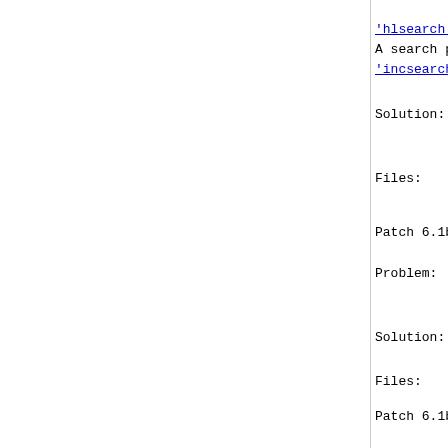'hlsearch' is set ke
A search pattern tha
'incsearch' is set.
Solution:    Stop 'hlsearch' high
Stop searching for
Files:    src/globals.h, src/
src/vim.h
Patch 6.1b.006
Problem:    When entering a comp
CTRL-V, the text is
Solution:    Redraw the text und
Files:    src/ex_getln.c
Patch 6.1b.007
Problem:    When the cursor is
deletes the first ch
deletes a space afte
Solution:    Backup the cursor on
Files:    src/search.c
Patch 6.1b.008
Problem:    *.xsl files are not
Monk files are not
Solution:    Delete the duplicate
Recognize monk files
Files:    runtime/filetype.vi